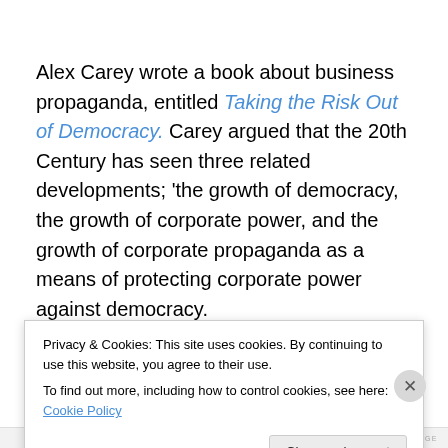Alex Carey wrote a book about business propaganda, entitled Taking the Risk Out of Democracy. Carey argued that the 20th Century has seen three related developments; 'the growth of democracy, the growth of corporate power, and the growth of corporate propaganda as a means of protecting corporate power against democracy.
Yves Smith of Naked Capitalism uses Carey's Taking the Risk Out Of Democracy to contrast a New York Times...
Privacy & Cookies: This site uses cookies. By continuing to use this website, you agree to their use. To find out more, including how to control cookies, see here: Cookie Policy
Close and accept